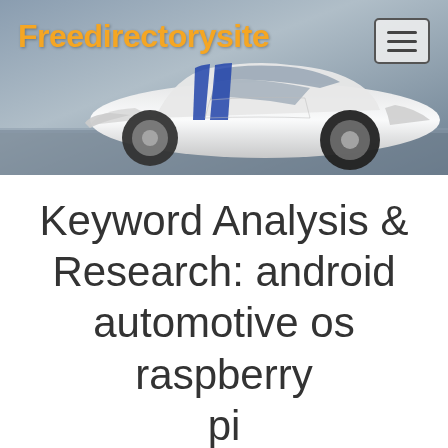[Figure (photo): Website header banner with a white sports car (racing stripes) on a grey/blue blurred background. Orange bold site logo 'Freedirectorysite' on left, hamburger menu icon on right.]
Keyword Analysis & Research: android automotive os raspberry pi